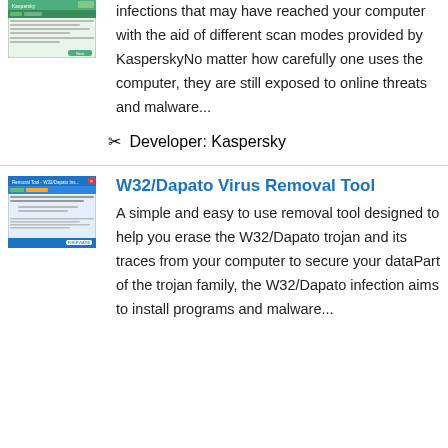[Figure (screenshot): Screenshot of Kaspersky software interface showing green bar and menu]
infections that may have reached your computer with the aid of different scan modes provided by KasperskyNo matter how carefully one uses the computer, they are still exposed to online threats and malware...
✂ Developer: Kaspersky
[Figure (screenshot): Screenshot of W32/Dapato Virus Removal Tool interface]
W32/Dapato Virus Removal Tool
A simple and easy to use removal tool designed to help you erase the W32/Dapato trojan and its traces from your computer to secure your dataPart of the trojan family, the W32/Dapato infection aims to install programs and malware...